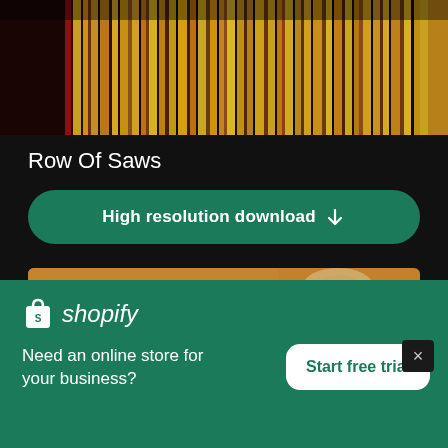[Figure (photo): Row of vinyl records or similar items with warm golden/amber tones, viewed from above]
Row Of Saws
[Figure (screenshot): Green download button labeled 'High resolution download' with down arrow icon]
[Figure (photo): Blurred close-up photo of what appears to be a saw or circular tool on a wooden surface]
[Figure (screenshot): Shopify advertisement banner with logo, tagline 'Need an online store for your business?' and 'Start free trial' button]